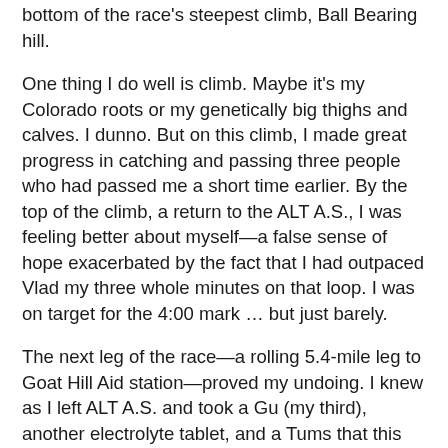...on that over one mile stretch and I placed on it at the bottom of the race's steepest climb, Ball Bearing hill.
One thing I do well is climb. Maybe it's my Colorado roots or my genetically big thighs and calves. I dunno. But on this climb, I made great progress in catching and passing three people who had passed me a short time earlier. By the top of the climb, a return to the ALT A.S., I was feeling better about myself—a false sense of hope exacerbated by the fact that I had outpaced Vlad my three whole minutes on that loop. I was on target for the 4:00 mark … but just barely.
The next leg of the race—a rolling 5.4-mile leg to Goat Hill Aid station—proved my undoing. I knew as I left ALT A.S. and took a Gu (my third), another electrolyte tablet, and a Tums that this would make or break my run at 4:00. It lifted my spirits to see other runners (still heading out on the course) and some mild downhills on this shady, pine needle-cushioned singletrack were downright heavenly.
On one switchback out of a stream drainage I was surprised to catch a pursuing runner out of the corner of my eye. He passed within a quarter mile and began to pull away. He was